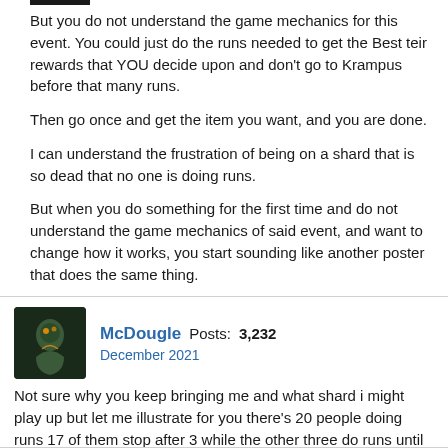But you do not understand the game mechanics for this event.  You could just do the runs needed to get the Best teir rewards that YOU decide upon and don't go to Krampus before that many runs.

Then go once and get the item you want, and you are done.

I can understand the frustration of being on a shard that is so dead that no one is doing runs.

But when you do something for the first time and do not understand the game mechanics of said event, and want to change how it works, you start sounding like another poster that does the same thing.
McDougle  Posts: 3,232
December 2021
Not sure why you keep bringing me and what shard i might play up but let me illustrate for you there's 20 people doing runs 17 of them stop after 3 while the other three do runs until Krampus spawns have the 17  sitters earned the same rewards?